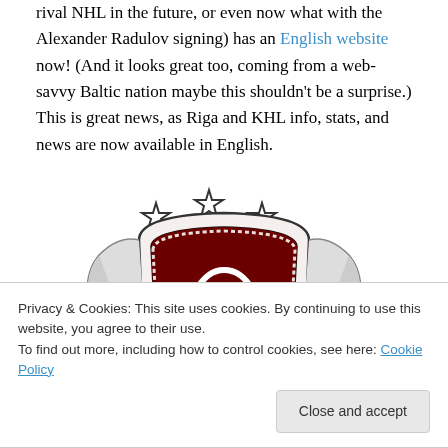rival NHL in the future, or even now what with the Alexander Radulov signing) has an English website now! (And it looks great too, coming from a web-savvy Baltic nation maybe this shouldn't be a surprise.) This is great news, as Riga and KHL info, stats, and news are now available in English.
[Figure (logo): Dinamo Riga hockey club logo — a red shield crest with stylized letter D/monogram, three stars above, flanked by decorative supporters, partially cropped at bottom]
Privacy & Cookies: This site uses cookies. By continuing to use this website, you agree to their use. To find out more, including how to control cookies, see here: Cookie Policy